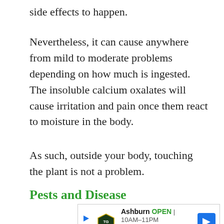side effects to happen.
Nevertheless, it can cause anywhere from mild to moderate problems depending on how much is ingested. The insoluble calcium oxalates will cause irritation and pain once them react to moisture in the body.
As such, outside your body, touching the plant is not a problem.
Pests and Disease
[Figure (other): Advertisement banner for TopGolf in Ashburn, showing open hours 10AM-11PM, address 20356 Commonwealth Center..., with navigation arrow icon]